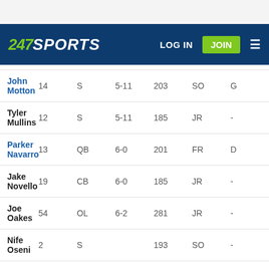247Sports | LOG IN | JOIN
| Name | # | POS | HT | WT | YR |  |
| --- | --- | --- | --- | --- | --- | --- |
| John Motton | 14 | S | 5-11 | 203 | SO | G |
| Tyler Mullins | 12 | S | 5-11 | 185 | JR | - |
| Parker Navarro | 13 | QB | 6-0 | 201 | FR | D |
| Jake Novello | 19 | CB | 6-0 | 185 | JR | - |
| Joe Oakes | 54 | OL | 6-2 | 281 | JR | - |
| Nife Oseni | 2 | S |  | 193 | SO | - |
| Roman Parodie | 4 | CB | 6-1 | 191 | SO | O |
| David Patterson | 15 | DE | 6-3 | 222 | SO | P |